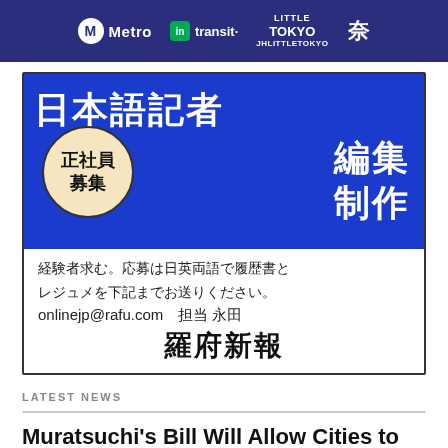[Figure (logo): Top navigation banner with Metro, transit, Little Tokyo logos on dark blue/purple background]
[Figure (infographic): Japanese language job advertisement for 日本語記者 編集 制作 (Japanese reporter/editor/production) positions at Rafu Shimpo newspaper. Blue background with white Japanese text, circular badge reading 正社員募集 (Full-time hiring). White section with application instructions: 経験者求む。応募は日英両語で履歴書とレジュメを下記までお送りください。onlinejp@rafu.com 担当 永田 羅府新報]
LATEST NEWS
Muratsuchi's Bill Will Allow Cities to Adopt Safety Plans for Neighborhood Electric Vehicles